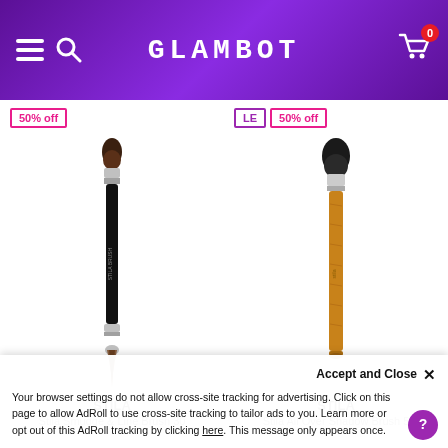GLAMBOT
[Figure (illustration): Stila Smudge & Line Brush 30 makeup brush with dark handle]
[Figure (illustration): Stila All Over Shadow Brush 5 makeup brush with bamboo/wood handle]
50% off
LE  50% off
STILA
STILA
Stila Smudge & Line Brush 30
Stila All Over Shadow Brush 5
Accept and Close ×
Your browser settings do not allow cross-site tracking for advertising. Click on this page to allow AdRoll to use cross-site tracking to tailor ads to you. Learn more or opt out of this AdRoll tracking by clicking here. This message only appears once.